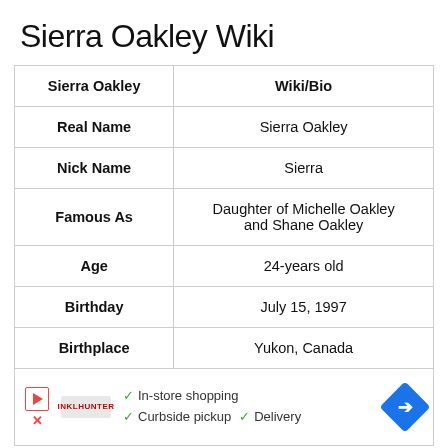Sierra Oakley Wiki
| Sierra Oakley | Wiki/Bio |
| --- | --- |
| Real Name | Sierra Oakley |
| Nick Name | Sierra |
| Famous As | Daughter of Michelle Oakley and Shane Oakley |
| Age | 24-years old |
| Birthday | July 15, 1997 |
| Birthplace | Yukon, Canada |